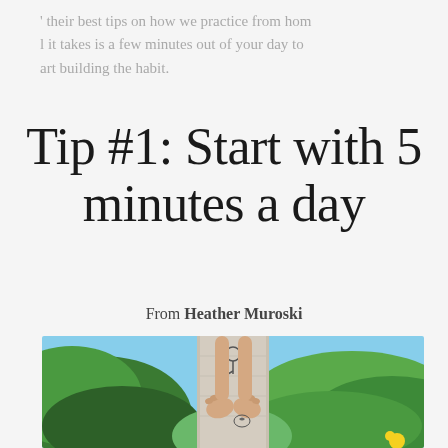' their best tips on how we practice from hom l it takes is a few minutes out of your day to art building the habit.
Tip #1: Start with 5 minutes a day
From Heather Muroski
[Figure (photo): Photo of bare feet raised up against a stone column or post, surrounded by lush tropical green foliage including large banana leaves and trees with blue sky visible.]